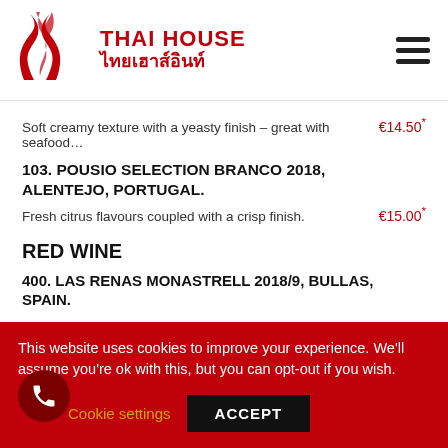[Figure (logo): Thai House restaurant logo with red flame/hook symbol and text 'THAI HOUSE' in English and Thai script]
Soft creamy texture with a yeasty finish – great with seafood…  €14.50*
103. POUSIO SELECTION BRANCO 2018, ALENTEJO, PORTUGAL.
Fresh citrus flavours coupled with a crisp finish.  €15.00*
RED WINE
400. LAS RENAS MONASTRELL 2018/9, BULLAS, SPAIN.
This website uses cookies to improve your experience. We'll assume you're ok with this, but you can opt-out if you wish.
Cookie settings  ACCEPT